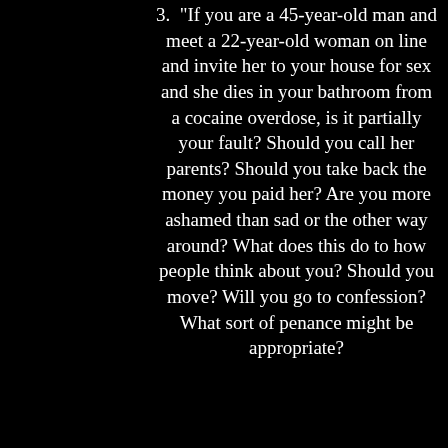3. "If you are a 45-year-old man and meet a 22-year-old woman on line and invite her to your house for sex and she dies in your bathroom from a cocaine overdose, is it partially your fault? Should you call her parents? Should you take back the money you paid her? Are you more ashamed than sad or the other way around? What does this do to how people think about you? Should you move? Will you go to confession? What sort of penance might be appropriate?